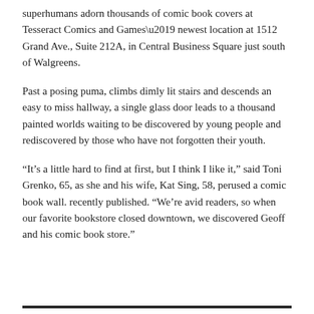superhumans adorn thousands of comic book covers at Tesseract Comics and Games' newest location at 1512 Grand Ave., Suite 212A, in Central Business Square just south of Walgreens.
Past a posing puma, climbs dimly lit stairs and descends an easy to miss hallway, a single glass door leads to a thousand painted worlds waiting to be discovered by young people and rediscovered by those who have not forgotten their youth.
“It’s a little hard to find at first, but I think I like it,” said Toni Grenko, 65, as she and his wife, Kat Sing, 58, perused a comic book wall. recently published. “We’re avid readers, so when our favorite bookstore closed downtown, we discovered Geoff and his comic book store.”